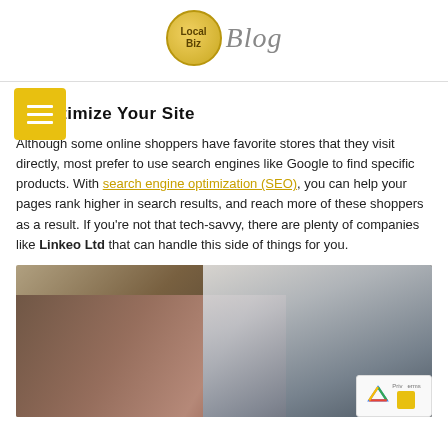Local Biz Blog
2. Optimize Your Site
Although some online shoppers have favorite stores that they visit directly, most prefer to use search engines like Google to find specific products. With search engine optimization (SEO), you can help your pages rank higher in search results, and reach more of these shoppers as a result. If you're not that tech-savvy, there are plenty of companies like Linkeo Ltd that can handle this side of things for you.
[Figure (photo): A hand holding a red credit card in front of a laptop displaying an online shopping website]